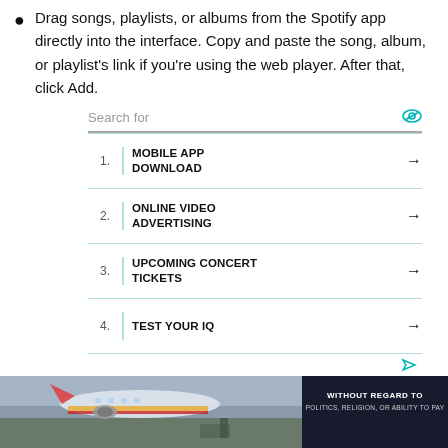Drag songs, playlists, or albums from the Spotify app directly into the interface. Copy and paste the song, album, or playlist's link if you're using the web player. After that, click Add.
[Figure (infographic): Search widget with eye icon and four numbered list items: 1. MOBILE APP DOWNLOAD, 2. ONLINE VIDEO ADVERTISING, 3. UPCOMING CONCERT TICKETS, 4. TEST YOUR IQ, each with an arrow, separated by teal horizontal lines, and an ad icon at the bottom.]
MP3 is the default output format. Additionally, it
[Figure (photo): Photo of a cargo airplane being loaded on a tarmac, with an overlay on the right side showing text WITHOUT REGARD TO POLITICS, RELIGION, OR ABILITY TO PAY on a dark background.]